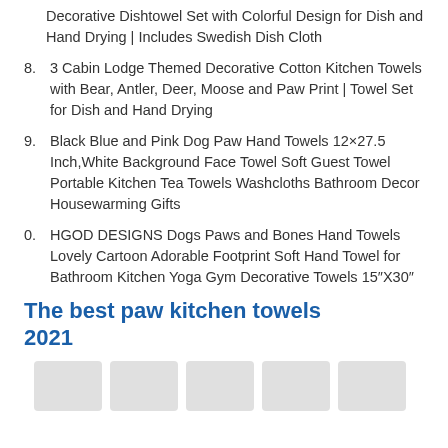Decorative Dishtowel Set with Colorful Design for Dish and Hand Drying | Includes Swedish Dish Cloth
8. 3 Cabin Lodge Themed Decorative Cotton Kitchen Towels with Bear, Antler, Deer, Moose and Paw Print | Towel Set for Dish and Hand Drying
9. Black Blue and Pink Dog Paw Hand Towels 12×27.5 Inch,White Background Face Towel Soft Guest Towel Portable Kitchen Tea Towels Washcloths Bathroom Decor Housewarming Gifts
0. HGOD DESIGNS Dogs Paws and Bones Hand Towels Lovely Cartoon Adorable Footprint Soft Hand Towel for Bathroom Kitchen Yoga Gym Decorative Towels 15″X30″
The best paw kitchen towels 2021
[Figure (photo): Row of product thumbnail images at bottom of page]